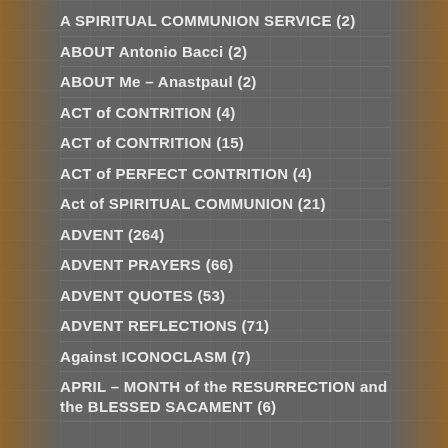A SPIRITUAL COMMUNION SERVICE (2)
ABOUT Antonio Bacci (2)
ABOUT Me – Anastpaul (2)
ACT of CONTRITION (4)
ACT of CONTRITION (15)
ACT of PERFECT CONTRITION (4)
Act of SPIRITUAL COMMUNION (21)
ADVENT (264)
ADVENT PRAYERS (66)
ADVENT QUOTES (53)
ADVENT REFLECTIONS (71)
Against ICONOCLASM (7)
APRIL – MONTH of the RESURRECTION and the BLESSED SACAMENT (6)